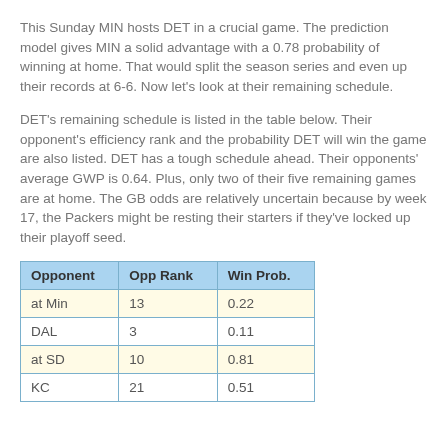This Sunday MIN hosts DET in a crucial game. The prediction model gives MIN a solid advantage with a 0.78 probability of winning at home. That would split the season series and even up their records at 6-6. Now let's look at their remaining schedule.
DET's remaining schedule is listed in the table below. Their opponent's efficiency rank and the probability DET will win the game are also listed. DET has a tough schedule ahead. Their opponents' average GWP is 0.64. Plus, only two of their five remaining games are at home. The GB odds are relatively uncertain because by week 17, the Packers might be resting their starters if they've locked up their playoff seed.
| Opponent | Opp Rank | Win Prob. |
| --- | --- | --- |
| at Min | 13 | 0.22 |
| DAL | 3 | 0.11 |
| at SD | 10 | 0.81 |
| KC | 21 | 0.51 |